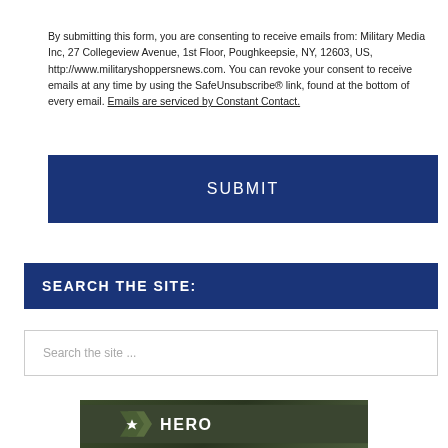By submitting this form, you are consenting to receive emails from: Military Media Inc, 27 Collegeview Avenue, 1st Floor, Poughkeepsie, NY, 12603, US, http://www.militaryshoppersnews.com. You can revoke your consent to receive emails at any time by using the SafeUnsubscribe® link, found at the bottom of every email. Emails are serviced by Constant Contact.
[Figure (other): Dark navy blue SUBMIT button]
SEARCH THE SITE:
[Figure (other): Search input box with placeholder text 'Search the site ...']
[Figure (logo): Hero Loan logo on dark military-style background with chevron and star emblem]